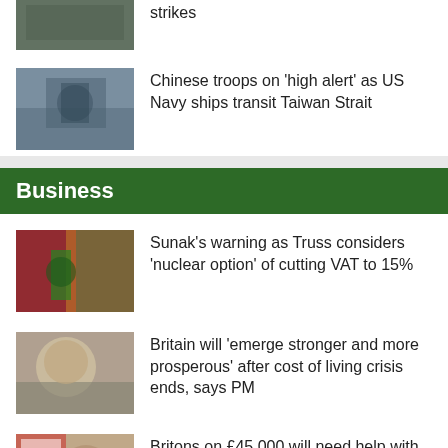[Figure (photo): Partial photo of a military vessel, cropped at top]
strikes
[Figure (photo): Photo of a US Navy ship at sea]
Chinese troops on 'high alert' as US Navy ships transit Taiwan Strait
Business
[Figure (photo): Person shopping in a supermarket with price signs]
Sunak's warning as Truss considers 'nuclear option' of cutting VAT to 15%
[Figure (photo): Photo of Boris Johnson]
Britain will 'emerge stronger and more prosperous' after cost of living crisis ends, says PM
[Figure (photo): Man in front of supermarket shelves with Great Offers sign]
Britons on £45,000 will need help with energy bills, says chancellor – as experts warn price